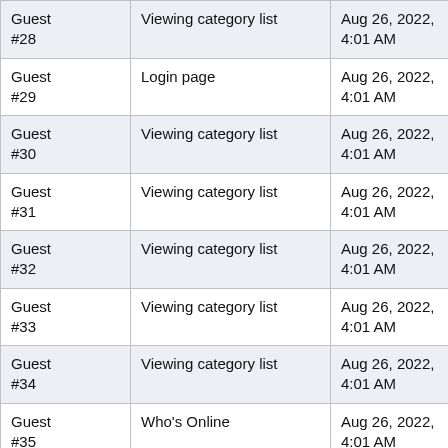| Guest #28 | Viewing category list | Aug 26, 2022, 4:01 AM |
| Guest #29 | Login page | Aug 26, 2022, 4:01 AM |
| Guest #30 | Viewing category list | Aug 26, 2022, 4:01 AM |
| Guest #31 | Viewing category list | Aug 26, 2022, 4:01 AM |
| Guest #32 | Viewing category list | Aug 26, 2022, 4:01 AM |
| Guest #33 | Viewing category list | Aug 26, 2022, 4:01 AM |
| Guest #34 | Viewing category list | Aug 26, 2022, 4:01 AM |
| Guest #35 | Who's Online | Aug 26, 2022, 4:01 AM |
| Guest #36 | Viewing posts (Flat mode) | Aug 26, 2022, 4:01 AM |
| Guest #37 | Viewing category list | Aug 26, 2022, 4:01 AM |
| Guest #38 | Search | Aug 26, 2022, 4:01 AM |
| Guest #39 | Viewing category list | Aug 26, 2022, 4:01 AM |